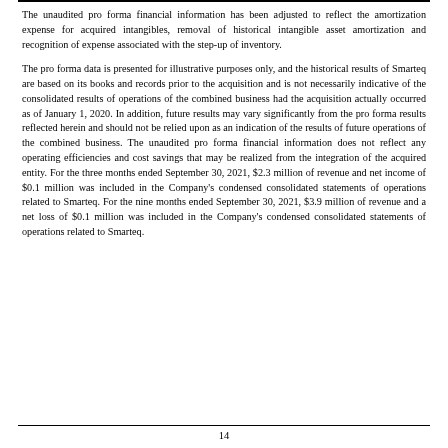The unaudited pro forma financial information has been adjusted to reflect the amortization expense for acquired intangibles, removal of historical intangible asset amortization and recognition of expense associated with the step-up of inventory.
The pro forma data is presented for illustrative purposes only, and the historical results of Smarteq are based on its books and records prior to the acquisition and is not necessarily indicative of the consolidated results of operations of the combined business had the acquisition actually occurred as of January 1, 2020. In addition, future results may vary significantly from the pro forma results reflected herein and should not be relied upon as an indication of the results of future operations of the combined business. The unaudited pro forma financial information does not reflect any operating efficiencies and cost savings that may be realized from the integration of the acquired entity. For the three months ended September 30, 2021, $2.3 million of revenue and net income of $0.1 million was included in the Company's condensed consolidated statements of operations related to Smarteq. For the nine months ended September 30, 2021, $3.9 million of revenue and a net loss of $0.1 million was included in the Company's condensed consolidated statements of operations related to Smarteq.
14